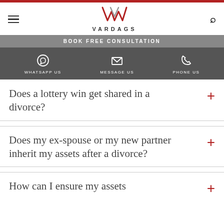VARDAGS
BOOK FREE CONSULTATION
WHATSAPP US | MESSAGE US | PHONE US
Does a lottery win get shared in a divorce?
Does my ex-spouse or my new partner inherit my assets after a divorce?
How can I ensure my assets are protected?